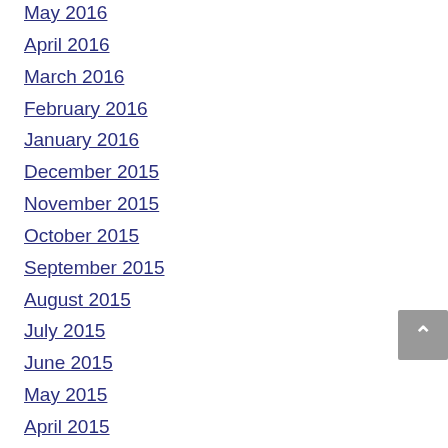May 2016
April 2016
March 2016
February 2016
January 2016
December 2015
November 2015
October 2015
September 2015
August 2015
July 2015
June 2015
May 2015
April 2015